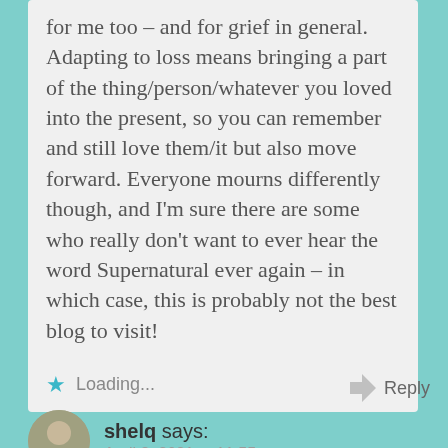for me too – and for grief in general. Adapting to loss means bringing a part of the thing/person/whatever you loved into the present, so you can remember and still love them/it but also move forward. Everyone mourns differently though, and I'm sure there are some who really don't want to ever hear the word Supernatural ever again – in which case, this is probably not the best blog to visit!
Loading...
Reply
shelq says:
April 3, 2021 at 11:55 am